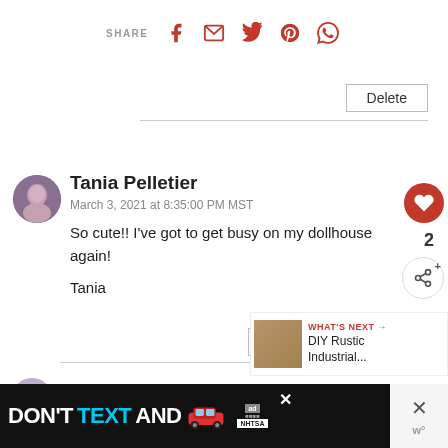SHARE [Facebook] [Email] [Twitter] [Pinterest] [WhatsApp]
Delete
[Figure (photo): Circular avatar photo of Tania Pelletier]
Tania Pelletier
March 3, 2021 at 8:35:00 PM MST
So cute!! I've got to get busy on my dollhouse again!
Tania
Reply
[Figure (photo): Thumbnail of DIY Rustic Industrial article]
WHAT'S NEXT → DIY Rustic Industrial...
[Figure (photo): Circular avatar photo of Marie-Interior Frugalista]
Marie-Interior Frugalista
[Figure (infographic): Ad banner: DON'T TEXT AND [car emoji] with NHTSA branding]